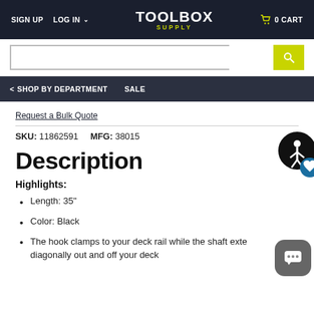SIGN UP  LOG IN  TOOLBOX SUPPLY  0 CART
Search
< SHOP BY DEPARTMENT  SALE
Request a Bulk Quote
SKU: 11862591  MFG: 38015
Description
Highlights:
Length: 35"
Color: Black
The hook clamps to your deck rail while the shaft exte…diagonally out and off your deck